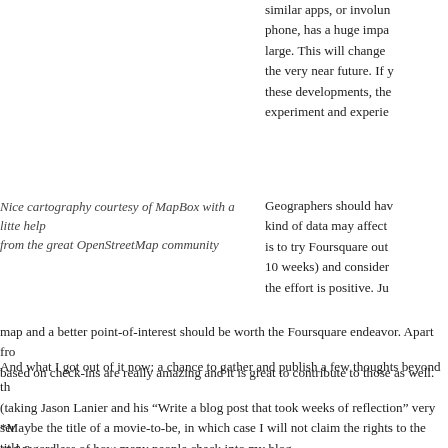similar apps, or involun phone, has a huge impa large. This will change the very near future. If y these developments, the experiment and experie
Geographers should hav kind of data may affect is to try Foursquare out 10 weeks) and consider the effort is positive. Ju
Nice cartography courtesy of MapBox with a litte help from the great OpenStreetMap community
map and a better point-of-interest should be worth the Foursquare endeavor. Apart fro based on check-ins are really amazing and it is great to contribute to those as well.
And what I got out of it now: a chance to gather and publish a few thoughts beyond th (taking Jason Lanier and his “Write a blog post that took weeks of reflection” very ser and regardless of how many people check into my blog.
*Maybe the title of a movie-to-be, in which case I will not claim the rights to the title released.